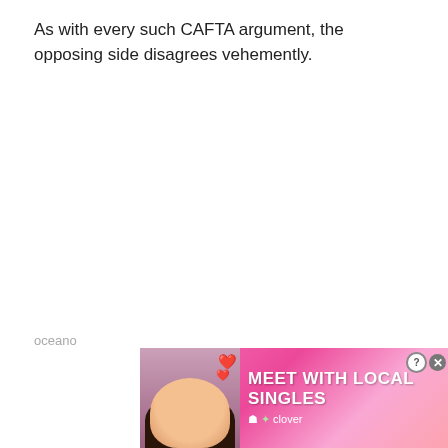As with every such CAFTA argument, the opposing side disagrees vehemently.
According to Alberto Trejos, former Foreign Trade Minister who helped negotiate the treaty, “Mr. Quirós is an excellent
oceano
[Figure (photo): Advertisement banner: Meet with local singles, Clover app ad with woman photo and hearts]
[Figure (other): Blue scroll-to-top button in lower right corner]